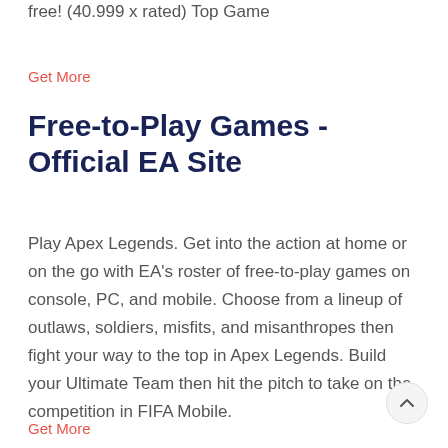free! (40.999 x rated) Top Game
Get More
Free-to-Play Games - Official EA Site
Play Apex Legends. Get into the action at home or on the go with EA's roster of free-to-play games on console, PC, and mobile. Choose from a lineup of outlaws, soldiers, misfits, and misanthropes then fight your way to the top in Apex Legends. Build your Ultimate Team then hit the pitch to take on the competition in FIFA Mobile.
Get More